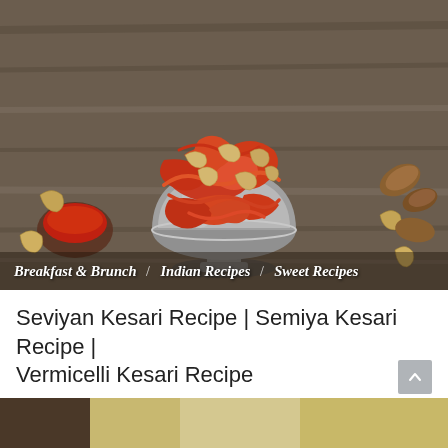[Figure (photo): A silver goblet/bowl filled with reddish-orange vermicelli (seviyan) topped with cashews, placed on a wooden surface with scattered cashews and almonds and a small bowl of red sauce in the background.]
Breakfast & Brunch | Indian Recipes | Sweet Recipes
Seviyan Kesari Recipe | Semiya Kesari Recipe | Vermicelli Kesari Recipe
Manita · August 17, 2022 ·
READ MORE →
[Figure (photo): Partial preview of the next article image at the bottom of the page.]